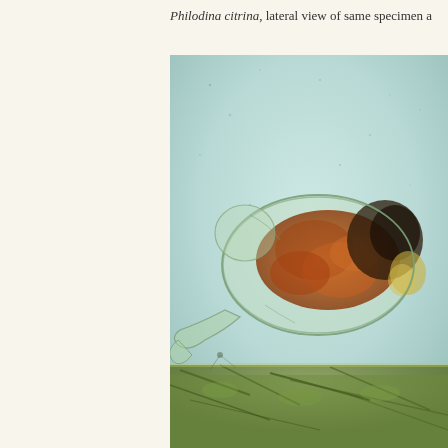Philodina citrina, lateral view of same specimen a
[Figure (photo): Microscope photograph of Philodina citrina rotifer in lateral view, showing internal organs with orange-brown coloration against a pale blue-green background, resting on green algal substrate at the bottom.]